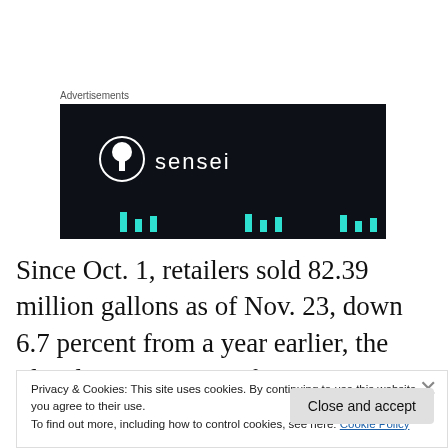Advertisements
[Figure (logo): Sensei brand advertisement banner on dark navy background with logo circle containing a tree/person icon and the word 'sensei' in white lowercase letters, with teal bar chart elements at bottom]
Since Oct. 1, retailers sold 82.39 million gallons as of Nov. 23, down 6.7 percent from a year earlier, the Florida Department of Citrus estimated on Dec. 9, citing data from Nielsen Co. U.S. inventories of frozen orange juice totaled
Privacy & Cookies: This site uses cookies. By continuing to use this website, you agree to their use.
To find out more, including how to control cookies, see here: Cookie Policy
Close and accept